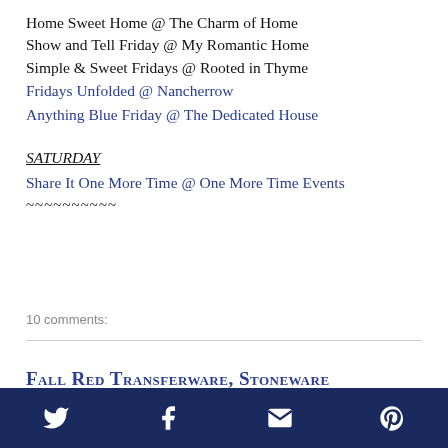Home Sweet Home @ The Charm of Home
Show and Tell Friday @ My Romantic Home
Simple & Sweet Fridays @ Rooted in Thyme
Fridays Unfolded @ Nancherrow
Anything Blue Friday @ The Dedicated House
SATURDAY
Share It One More Time @ One More Time Events
~~~~~~~~~~
10 comments:
Fall Red Transferware, Stoneware
[Figure (other): Social media share bar with Twitter, Facebook, Email, and Pinterest icons on dark navy background]